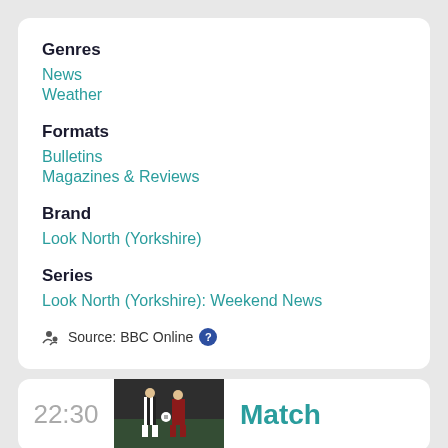Genres
News
Weather
Formats
Bulletins
Magazines & Reviews
Brand
Look North (Yorkshire)
Series
Look North (Yorkshire): Weekend News
Source: BBC Online
22:30
[Figure (photo): Two football players competing for the ball, one in black and white stripes]
Match